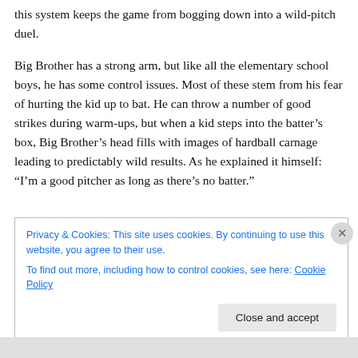this system keeps the game from bogging down into a wild-pitch duel.

Big Brother has a strong arm, but like all the elementary school boys, he has some control issues. Most of these stem from his fear of hurting the kid up to bat. He can throw a number of good strikes during warm-ups, but when a kid steps into the batter's box, Big Brother's head fills with images of hardball carnage leading to predictably wild results. As he explained it himself: “I’m a good pitcher as long as there’s no batter.”
Privacy & Cookies: This site uses cookies. By continuing to use this website, you agree to their use.
To find out more, including how to control cookies, see here: Cookie Policy